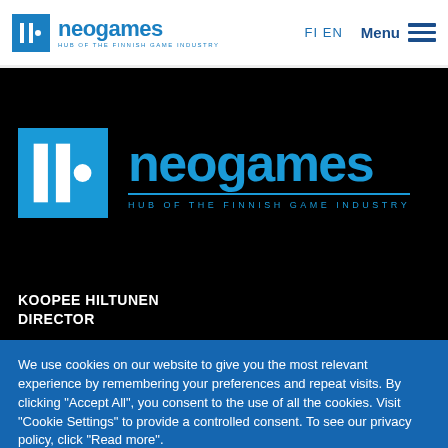neogames | HUB OF THE FINNISH GAME INDUSTRY | FI EN | Menu
[Figure (logo): Neogames logo — blue square with stylized vertical bars icon, 'neogames' in blue text, tagline 'HUB OF THE FINNISH GAME INDUSTRY' — large version on black background]
KOOPEE HILTUNEN
DIRECTOR
We use cookies on our website to give you the most relevant experience by remembering your preferences and repeat visits. By clicking "Accept All", you consent to the use of all the cookies. Visit "Cookie Settings" to provide a controlled consent. To see our privacy policy, click "Read more".
Cookie Settings | Accept All | Read More